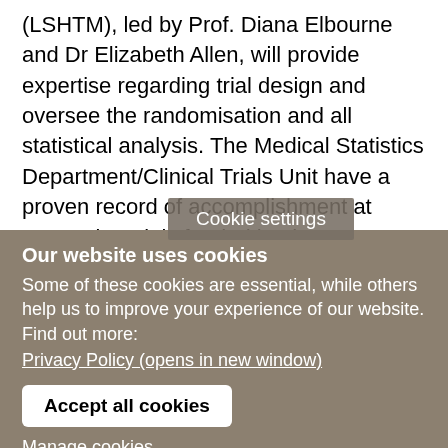(LSHTM), led by Prof. Diana Elbourne and Dr Elizabeth Allen, will provide expertise regarding trial design and oversee the randomisation and all statistical analysis. The Medical Statistics Department/Clinical Trials Unit have a proven record of accomplishment at supporting trials funded by the HTA. DE's expertise is in RCTs, systematic reviews, the views of consumers (especially qualitative studies of the views of participants in trials), data monitoring com...g of trials, and
Cookie settings
Our website uses cookies
Some of these cookies are essential, while others help us to improve your experience of our website. Find out more:
Privacy Policy (opens in new window)
Accept all cookies
Manage cookies